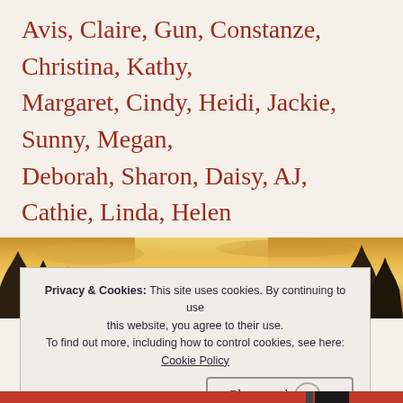Avis, Claire, Gun, Constanze, Christina, Kathy, Margaret, Cindy, Heidi, Jackie, Sunny, Megan, Deborah, Sharon, Daisy, AJ, Cathie, Linda, Helen
[Figure (photo): Sunset or golden hour photo showing silhouetted trees against a warm golden-yellow sky with clouds]
Privacy & Cookies: This site uses cookies. By continuing to use this website, you agree to their use. To find out more, including how to control cookies, see here: Cookie Policy
Close and accept